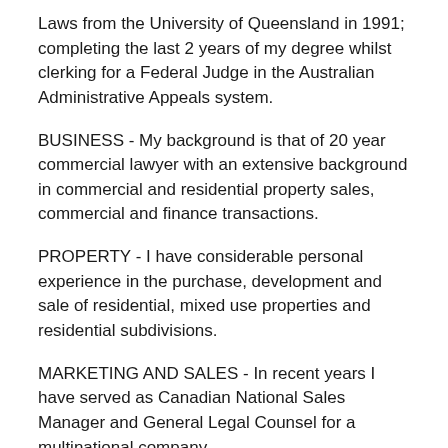Laws from the University of Queensland in 1991; completing the last 2 years of my degree whilst clerking for a Federal Judge in the Australian Administrative Appeals system.
BUSINESS - My background is that of 20 year commercial lawyer with an extensive background in commercial and residential property sales, commercial and finance transactions.
PROPERTY - I have considerable personal experience in the purchase, development and sale of residential, mixed use properties and residential subdivisions.
MARKETING AND SALES - In recent years I have served as Canadian National Sales Manager and General Legal Counsel for a multinational company.